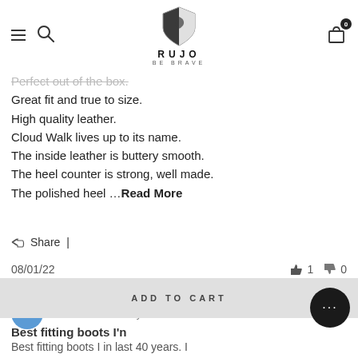RUJO BE BRAVE — navigation header with logo
Perfect out of the box.
Great fit and true to size.
High quality leather.
Cloud Walk lives up to its name.
The inside leather is buttery smooth.
The heel counter is strong, well made.
The polished heel … Read More
Share  |
08/01/22   👍 1   👎 0
Ike K  Verified Buyer
ADD TO CART
Best fitting boots I'n
Best fitting boots I in last 40 years. I